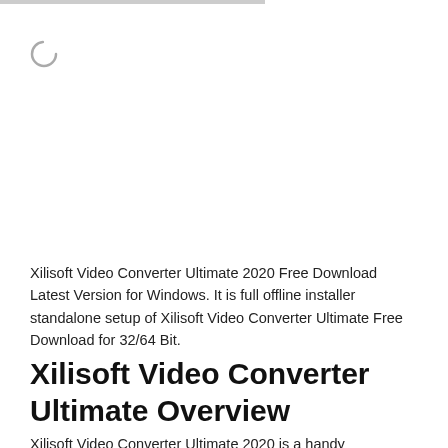[Figure (other): Loading spinner icon (partial circle arc)]
Xilisoft Video Converter Ultimate 2020 Free Download Latest Version for Windows. It is full offline installer standalone setup of Xilisoft Video Converter Ultimate Free Download for 32/64 Bit.
Xilisoft Video Converter Ultimate Overview
Xilisoft Video Converter Ultimate 2020 is a handy application